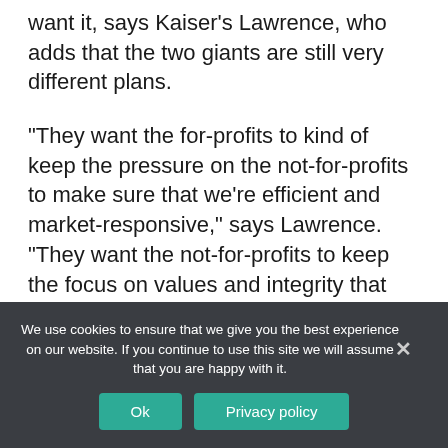want it, says Kaiser's Lawrence, who adds that the two giants are still very different plans.
“They want the for-profits to kind of keep the pressure on the not-for-profits to make sure that we’re efficient and market-responsive,” says Lawrence. “They want the not-for-profits to keep the focus on values and integrity that not-for-profits have had historically, in their best manifestations. So we have a mixed model as a consequence and I think the mixed model isn’t a bad way
We use cookies to ensure that we give you the best experience on our website. If you continue to use this site we will assume that you are happy with it.